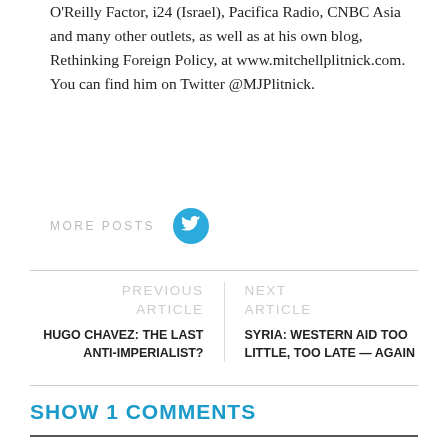O'Reilly Factor, i24 (Israel), Pacifica Radio, CNBC Asia and many other outlets, as well as at his own blog, Rethinking Foreign Policy, at www.mitchellplitnick.com. You can find him on Twitter @MJPlitnick.
MORE POSTS
[Figure (other): Twitter bird icon in a blue circle button]
PREVIOUS ARTICLE
HUGO CHAVEZ: THE LAST ANTI-IMPERIALIST?
NEXT ARTICLE
SYRIA: WESTERN AID TOO LITTLE, TOO LATE — AGAIN
SHOW 1 COMMENTS